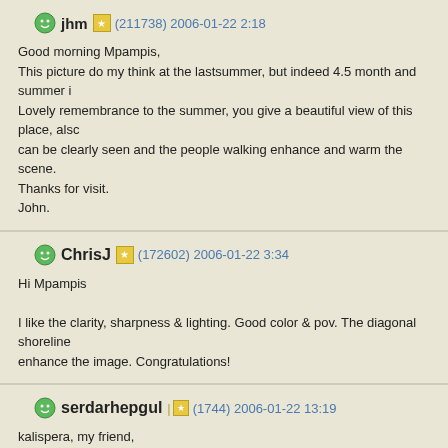jhm (211738) 2006-01-22 2:18
Good morning Mpampis,
This picture do my think at the lastsummer, but indeed 4.5 month and summer i
Lovely remembrance to the summer, you give a beautiful view of this place, als
can be clearly seen and the people walking enhance and warm the scene.
Thanks for visit.
John.
ChrisJ (172602) 2006-01-22 3:34
Hi Mpampis
I like the clarity, sharpness & lighting. Good color & pov. The diagonal shoreline
enhance the image. Congratulations!
serdarhepgul (1744) 2006-01-22 13:19
kalispera, my friend,
As we are waiting for the Sibirian Colds and Snows..very heating picture..Super
balance...I liked it very very very much again.
Serdar